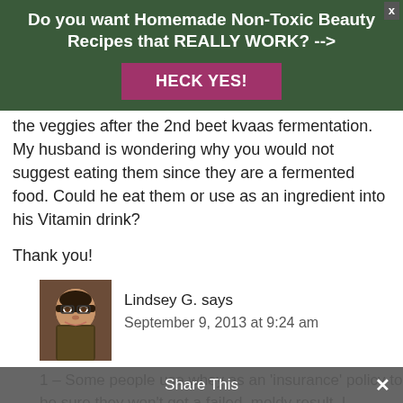Do you want Homemade Non-Toxic Beauty Recipes that REALLY WORK? -->
HECK YES!
the veggies after the 2nd beet kvaas fermentation. My husband is wondering why you would not suggest eating them since they are a fermented food. Could he eat them or use as an ingredient into his Vitamin drink?
Thank you!
Lindsey G. says
September 9, 2013 at 9:24 am
[Figure (photo): Avatar photo of Lindsey G., a woman with dark hair and glasses wearing a patterned top]
1 – Some people use whey as an 'insurance' policy to be sure they won't get a failed, moldy result. I personally don't do this but
Share This